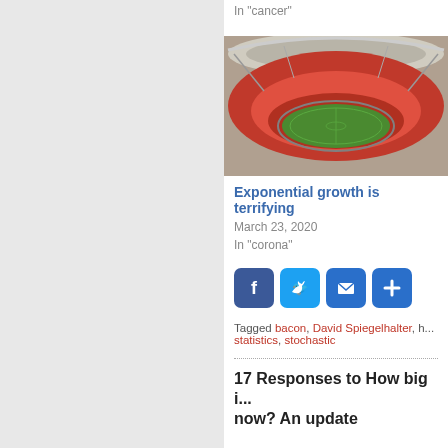In "cancer"
[Figure (photo): Aerial view of a large football/soccer stadium with red seating and green pitch, likely Wembley Stadium]
Exponential growth is terrifying
March 23, 2020
In "corona"
[Figure (infographic): Social sharing buttons: Facebook, Twitter, Email, Share (AddThis)]
Tagged bacon, David Spiegelhalter, h... statistics, stochastic
17 Responses to How big i... now? An update